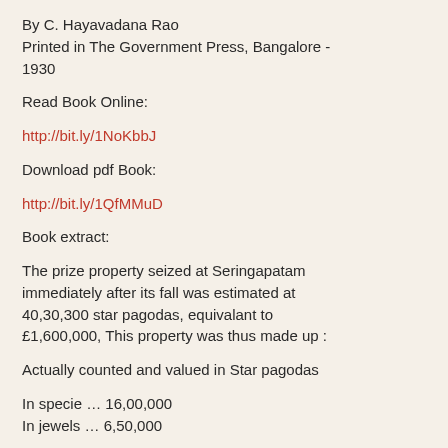By C. Hayavadana Rao
Printed in The Government Press, Bangalore - 1930
Read Book Online:
http://bit.ly/1NoKbbJ
Download pdf Book:
http://bit.ly/1QfMMuD
Book extract:
The prize property seized at Seringapatam immediately after its fall was estimated at 40,30,300 star pagodas, equivalant to £1,600,000, This property was thus made up :
Actually counted and valued in Star pagodas
In specie … 16,00,000
In jewels … 6,50,000